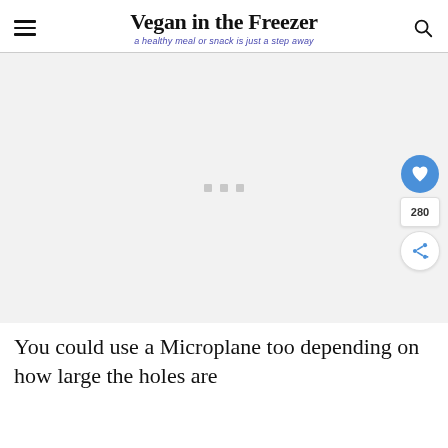Vegan in the Freezer
a healthy meal or snack is just a step away
[Figure (other): Advertisement placeholder area with three small gray squares in the center on a light gray background]
You could use a Microplane too depending on how large the holes are